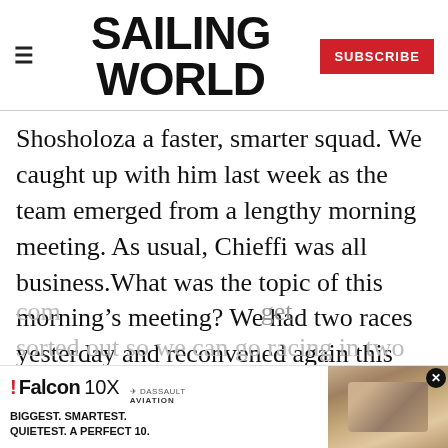SAILING WORLD
Shosholoza a faster, smarter squad. We caught up with him last week as the team emerged from a lengthy morning meeting. As usual, Chieffi was all business.What was the topic of this morning's meeting? We had two races yesterday and reconvened again this morning-and it was long one because we have been working really hard on the boat performance over the last two or three months and we have come ... get sorted out so we can go racing in two
[Figure (screenshot): Falcon 10X Dassault Aviation advertisement banner with aircraft interior image, taglines: BIGGEST. SMARTEST. QUIETEST. A PERFECT 10.]